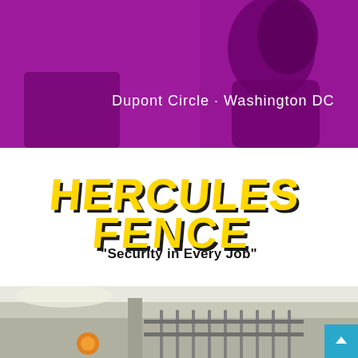[Figure (photo): Purple-toned photo of a woman's profile silhouette with text overlay 'Dupont Circle · Washington DC']
[Figure (logo): Hercules Fence logo with bold yellow letters on dark shadow/outline, 'HERCULES FENCE' stacked text]
"Security in Every Job"
[Figure (photo): Bottom photo showing a fence installation at a building exterior]